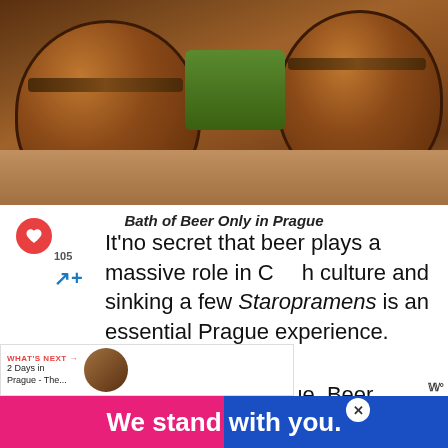[Figure (photo): Wooden beer barrel tubs/bathtubs in a bar or spa in Prague, with warm brown tones and a green bar top in the background]
Bath of Beer Only in Prague
It's no secret that beer plays a massive role in Czech culture and sinking a few Staropramens is an essential Prague experience.
You will find beer everywhere in Prague. Beer gardens, pubs, museums, and a lot of the time it's cheaper than water is
We stand with you.